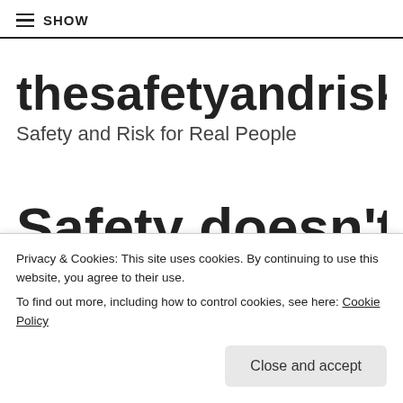≡ SHOW
thesafetyandriskspotlig
Safety and Risk for Real People
Safety doesn't tak
Privacy & Cookies: This site uses cookies. By continuing to use this website, you agree to their use.
To find out more, including how to control cookies, see here: Cookie Policy
Close and accept